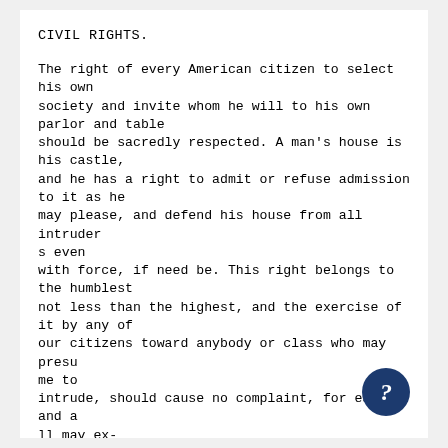CIVIL RIGHTS.
The right of every American citizen to select his own
society and invite whom he will to his own parlor and table
should be sacredly respected. A man's house is his castle,
and he has a right to admit or refuse admission to it as he
may please, and defend his house from all intruders even
with force, if need be. This right belongs to the humblest
not less than the highest, and the exercise of it by any of
our citizens toward anybody or class who may presume to
intrude, should cause no complaint, for each and all may ex-
ercise the same right toward whom he will.
"When he quits his home and goes upon the public street,
enters a public car or a public house, he has no e